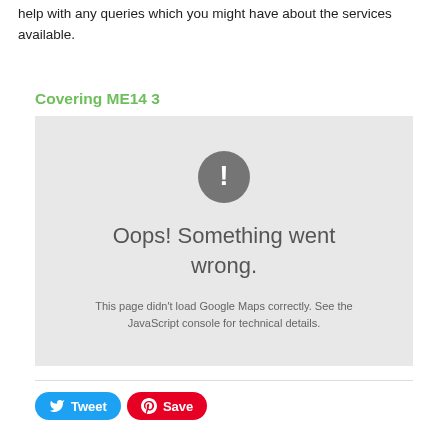help with any queries which you might have about the services available.
Covering ME14 3
[Figure (screenshot): Google Maps error placeholder showing a grey box with a dark circle containing an exclamation mark, text 'Oops! Something went wrong.' and 'This page didn't load Google Maps correctly. See the JavaScript console for technical details.']
Tweet    Save